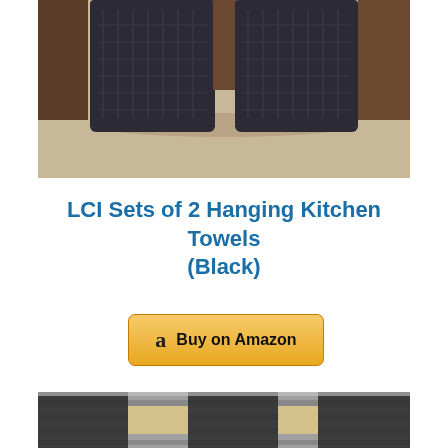[Figure (photo): Two dark/black hanging kitchen towels folded over a wooden bar, resting on a surface. Towels have a textured waffle or grid pattern.]
LCI Sets of 2 Hanging Kitchen Towels (Black)
[Figure (other): Amazon Buy on Amazon button with Amazon logo 'a']
[Figure (photo): Bottom portion of another product image showing dark/black and cream/tan striped kitchen towels on a metal rack.]